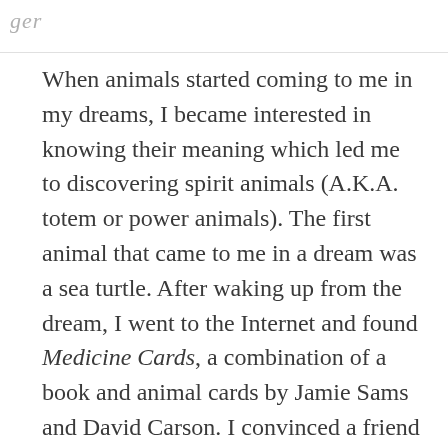When animals started coming to me in my dreams, I became interested in knowing their meaning which led me to discovering spirit animals (A.K.A. totem or power animals). The first animal that came to me in a dream was a sea turtle. After waking up from the dream, I went to the Internet and found Medicine Cards, a combination of a book and animal cards by Jamie Sams and David Carson. I convinced a friend to go with me to hear a lecture at the East West Bookstore in Mountain View. I found and purchased the book with the cards at the bookstore. While we were waiting for the lecture to start, a couple of ladies sitting behind us mentioned that they had the cards and